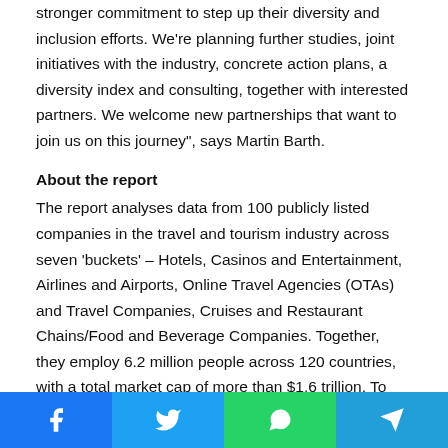stronger commitment to step up their diversity and inclusion efforts. We're planning further studies, joint initiatives with the industry, concrete action plans, a diversity index and consulting, together with interested partners. We welcome new partnerships that want to join us on this journey", says Martin Barth.
About the report
The report analyses data from 100 publicly listed companies in the travel and tourism industry across seven 'buckets' – Hotels, Casinos and Entertainment, Airlines and Airports, Online Travel Agencies (OTAs) and Travel Companies, Cruises and Restaurant Chains/Food and Beverage Companies. Together, they employ 6.2 million people across 120 countries, with a total market cap of more than $1.6 trillion. To read the
Share buttons: Facebook, Twitter, WhatsApp, Telegram